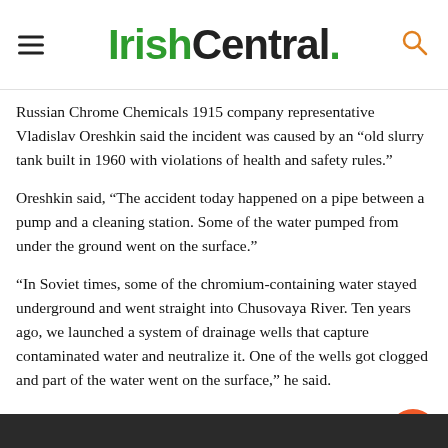IrishCentral.
Russian Chrome Chemicals 1915 company representative Vladislav Oreshkin said the incident was caused by an “old slurry tank built in 1960 with violations of health and safety rules.”
Oreshkin said, “The accident today happened on a pipe between a pump and a cleaning station. Some of the water pumped from under the ground went on the surface.”
“In Soviet times, some of the chromium-containing water stayed underground and went straight into Chusovaya River. Ten years ago, we launched a system of drainage wells that capture contaminated water and neutralize it. One of the wells got clogged and part of the water went on the surface,” he said.